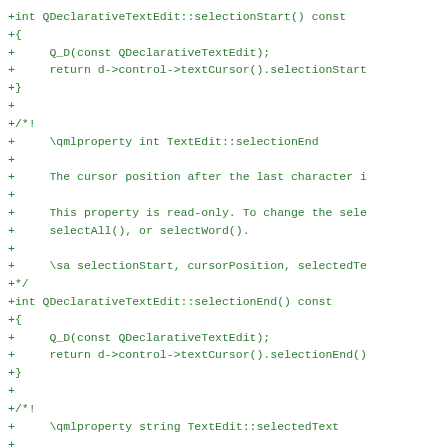+int QDeclarativeTextEdit::selectionStart() const
+{
+     Q_D(const QDeclarativeTextEdit);
+     return d->control->textCursor().selectionStart
+}
+
+/*!
+     \qmlproperty int TextEdit::selectionEnd
+
+     The cursor position after the last character i
+
+     This property is read-only. To change the sele
+     selectAll(), or selectWord().
+
+     \sa selectionStart, cursorPosition, selectedTe
+*/
+int QDeclarativeTextEdit::selectionEnd() const
+{
+     Q_D(const QDeclarativeTextEdit);
+     return d->control->textCursor().selectionEnd()
+}
+
+/*!
+     \qmlproperty string TextEdit::selectedText
+
+     This read-only property provides the text curr
+     text edit.
+
+     It is equivalent to the following snippet, but
+     to use.